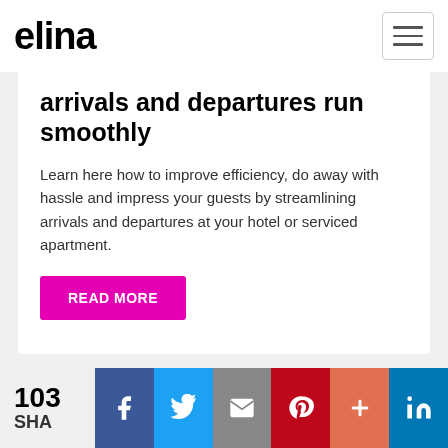elina
arrivals and departures run smoothly
Learn here how to improve efficiency, do away with hassle and impress your guests by streamlining arrivals and departures at your hotel or serviced apartment.
READ MORE
103 SHARES  f  t  email  p  +  in